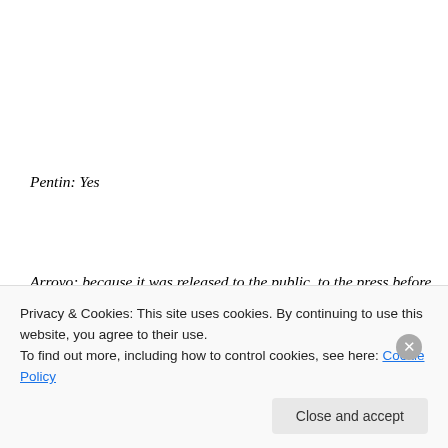Pentin: Yes
Arroyo: because it was released to the public, to the press before the cardinals even got a glimpse of it. Tell me how that came to be and many cardinals said this bears no relations to the conversation we've been having. In fact, nobody even talked about homosexuality or communion for divorced/remarried people. We barely had a conversation about that.
Privacy & Cookies: This site uses cookies. By continuing to use this website, you agree to their use.
To find out more, including how to control cookies, see here: Cookie Policy
Close and accept